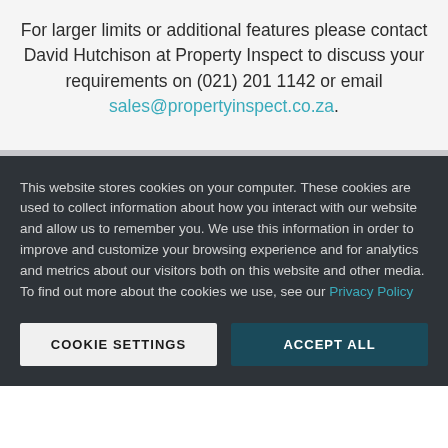For larger limits or additional features please contact David Hutchison at Property Inspect to discuss your requirements on (021) 201 1142 or email sales@propertyinspect.co.za.
This website stores cookies on your computer. These cookies are used to collect information about how you interact with our website and allow us to remember you. We use this information in order to improve and customize your browsing experience and for analytics and metrics about our visitors both on this website and other media. To find out more about the cookies we use, see our Privacy Policy